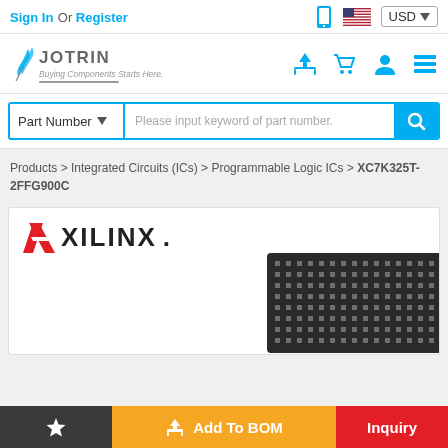Sign In Or Register | USD
[Figure (logo): Jotrin Electronics logo with feather/leaf icon and tagline 'Buying Components Starts Here']
[Figure (screenshot): Search bar with 'Part Number' dropdown and placeholder 'Please input keyword of part number.']
Products > Integrated Circuits (ICs) > Programmable Logic ICs > XC7K325T-2FFG900C
[Figure (logo): Xilinx logo in red and black, with chip image partially visible at bottom right]
Add To BOM | Inquiry